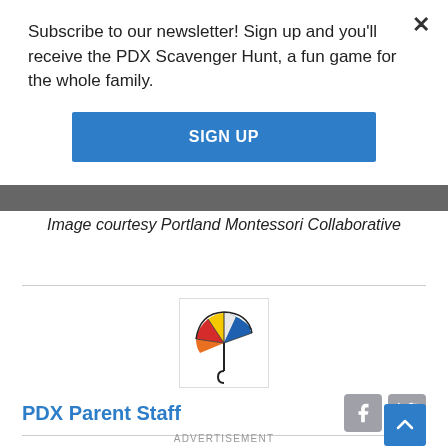Subscribe to our newsletter! Sign up and you'll receive the PDX Scavenger Hunt, a fun game for the whole family.
SIGN UP
Image courtesy Portland Montessori Collaborative
[Figure (logo): Colorful umbrella logo for PDX Parent Staff]
PDX Parent Staff
ADVERTISEMENT